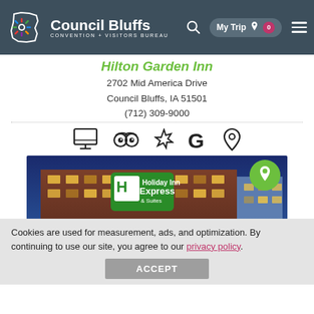Council Bluffs Convention + Visitors Bureau — My Trip 0
Hilton Garden Inn
2702 Mid America Drive
Council Bluffs, IA 51501
(712) 309-9000
[Figure (illustration): Row of icons: website/monitor, TripAdvisor owl, Yelp star, Google G, map pin]
[Figure (photo): Holiday Inn Express & Suites hotel exterior at dusk with blue accent lighting, green logo sign visible. A green circular pin/bookmark badge overlays the top right corner.]
Cookies are used for measurement, ads, and optimization. By continuing to use our site, you agree to our privacy policy.
ACCEPT